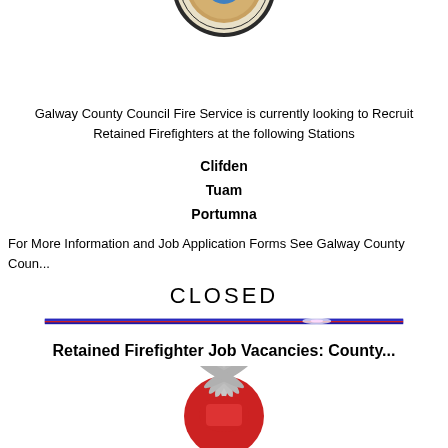[Figure (logo): Galway County Council badge/crest logo with sunburst border, partially cropped at top]
Galway County Council Fire Service is currently looking to Recruit Retained Firefighters at the following Stations
Clifden
Tuam
Portumna
For More Information and Job Application Forms See Galway County Coun...
CLOSED
[Figure (illustration): Blue and red horizontal divider bar with decorative gradient and light flare]
Retained Firefighter Job Vacancies: County...
[Figure (logo): Fire service badge/emblem with red and grey sunburst design, partially cropped at bottom]